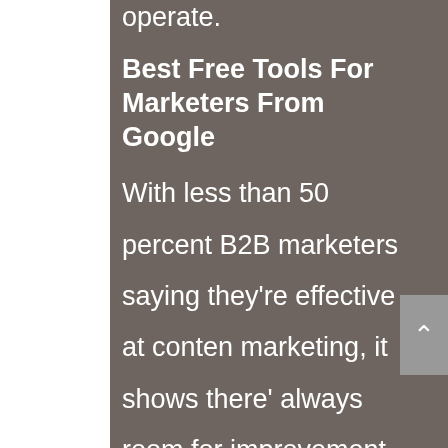operate.
Best Free Tools For Marketers From Google
With less than 50 percent B2B marketers saying they're effective at content marketing, it shows there's always room for improvement.
Here, I've given you all the free Google tools that you should be paying attention to as a content marketer.